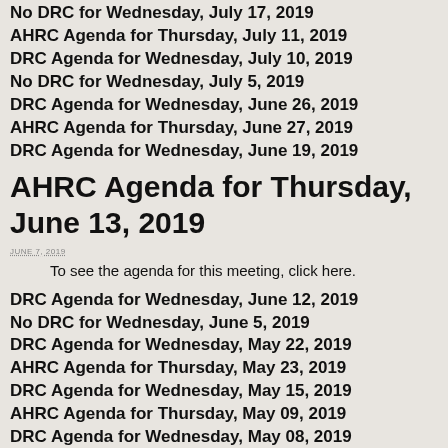No DRC for Wednesday, July 17, 2019
AHRC Agenda for Thursday, July 11, 2019
DRC Agenda for Wednesday, July 10, 2019
No DRC for Wednesday, July 5, 2019
DRC Agenda for Wednesday, June 26, 2019
AHRC Agenda for Thursday, June 27, 2019
DRC Agenda for Wednesday, June 19, 2019
AHRC Agenda for Thursday, June 13, 2019
JUNE 7, 2019
To see the agenda for this meeting, click here.
DRC Agenda for Wednesday, June 12, 2019
No DRC for Wednesday, June 5, 2019
DRC Agenda for Wednesday, May 22, 2019
AHRC Agenda for Thursday, May 23, 2019
DRC Agenda for Wednesday, May 15, 2019
AHRC Agenda for Thursday, May 09, 2019
DRC Agenda for Wednesday, May 08, 2019
DRC Agenda for Wednesday, May 1, 2019
AHRC Agenda for Thursday, April 25, 2019
DRC Agenda for Wednesday, April 24, 2019